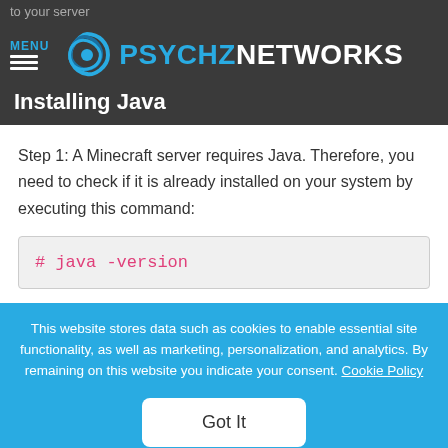to your server
MENU PSYCHZNETWORKS
Installing Java
Step 1: A Minecraft server requires Java. Therefore, you need to check if it is already installed on your system by executing this command:
This website stores data such as cookies to enable essential site functionality, as well as marketing, personalization, and analytics. By remaining on this website you indicate your consent. Cookie Policy
Got It